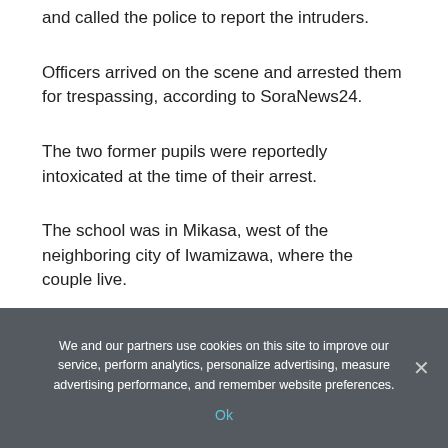and called the police to report the intruders.
Officers arrived on the scene and arrested them for trespassing, according to SoraNews24.
The two former pupils were reportedly intoxicated at the time of their arrest.
The school was in Mikasa, west of the neighboring city of Iwamizawa, where the couple live.
Social media users commenting on Japan Today's story reminisced about their own childhood memories.
We and our partners use cookies on this site to improve our service, perform analytics, personalize advertising, measure advertising performance, and remember website preferences. Ok